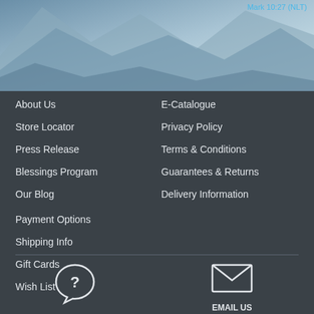[Figure (illustration): Hero image with mountain/cliff scenery in blue-grey tones, partial view]
Mark 10:27 (NLT)
About Us
E-Catalogue
Store Locator
Privacy Policy
Press Release
Terms & Conditions
Blessings Program
Guarantees & Returns
Our Blog
Delivery Information
Payment Options
Shipping Info
Gift Cards
Wish List
[Figure (illustration): Chat bubble with question mark icon for FAQ/help section]
NEED HELP?
FAQ
[Figure (illustration): Envelope/email icon]
EMAIL US
online@cumbooks.co.za